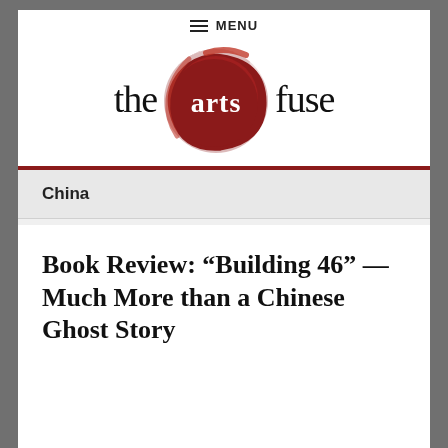≡ MENU
[Figure (logo): The Arts Fuse logo: text 'the' and 'fuse' in serif font flanking a red brushstroke circle with 'arts' written in white inside the circle.]
China
Book Review: “Building 46” — Much More than a Chinese Ghost Story